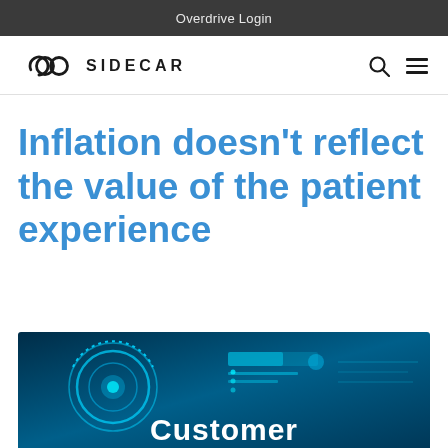Overdrive Login
[Figure (logo): COO Sidecar logo with circular COO symbol and SIDECAR text in uppercase]
Inflation doesn't reflect the value of the patient experience
[Figure (illustration): Dark blue technology/digital interface illustration with circular HUD element and UI panels, with the word 'Customer' visible at the bottom]